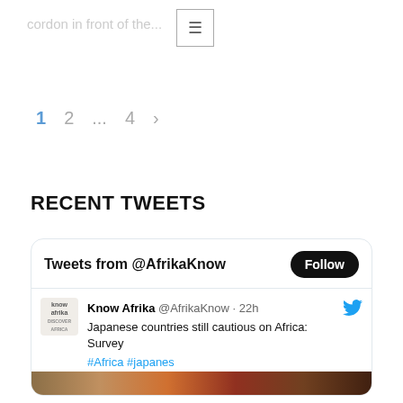cordon in front of the...
≡
1  2  ...  4  ›
RECENT TWEETS
[Figure (screenshot): Twitter widget showing tweets from @AfrikaKnow with a Follow button. Tweet by Know Afrika @AfrikaKnow · 22h: 'Japanese countries still cautious on Africa: Survey #Africa #japanes #African knowafrika.com/japanese-count…' with a photo strip at bottom.]